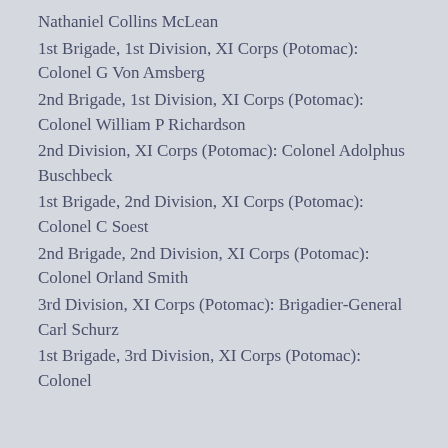Nathaniel Collins McLean
1st Brigade, 1st Division, XI Corps (Potomac): Colonel G Von Amsberg
2nd Brigade, 1st Division, XI Corps (Potomac): Colonel William P Richardson
2nd Division, XI Corps (Potomac): Colonel Adolphus Buschbeck
1st Brigade, 2nd Division, XI Corps (Potomac): Colonel C Soest
2nd Brigade, 2nd Division, XI Corps (Potomac): Colonel Orland Smith
3rd Division, XI Corps (Potomac): Brigadier-General Carl Schurz
1st Brigade, 3rd Division, XI Corps (Potomac): Colonel